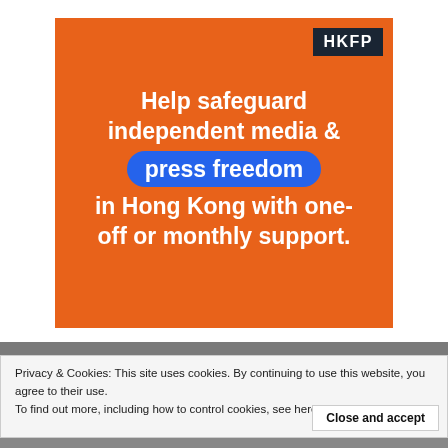[Figure (infographic): Orange HKFP advertisement banner with white bold text reading 'Help safeguard independent media & press freedom in Hong Kong with one-off or monthly support.' The words 'press freedom' appear in a blue rounded badge. The HKFP logo is in a dark box at top right.]
Privacy & Cookies: This site uses cookies. By continuing to use this website, you agree to their use.
To find out more, including how to control cookies, see here: Cookie Policy
Close and accept